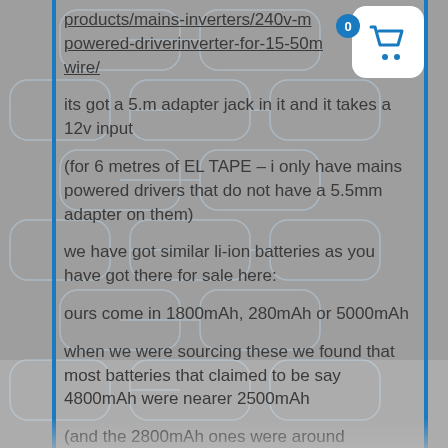products/mains-inverters/240v-mains-powered-driverinverter-for-15-50m-wire/
its got a 5.m adapter jack in it and it takes a 12v input
(for 6 metres of EL TAPE – i only have mains powered drivers that do not have a 5.5mm adapter on them)
we have got similar li-ion batteries as you have got there for sale here:
ours come in 1800mAh, 280mAh or 5000mAh
when we were sourcing these we found that most batteries that claimed to be say 4800mAh were nearer 2500mAh
(and the 2800mAh ones were around